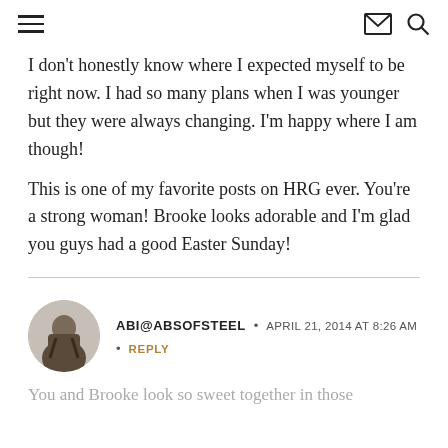I don't honestly know where I expected myself to be right now. I had so many plans when I was younger but they were always changing. I'm happy where I am though!
This is one of my favorite posts on HRG ever. You're a strong woman! Brooke looks adorable and I'm glad you guys had a good Easter Sunday!
ABI@ABSOFSTEEL · APRIL 21, 2014 AT 8:26 AM · REPLY
You and Brooke look so sweet together in those